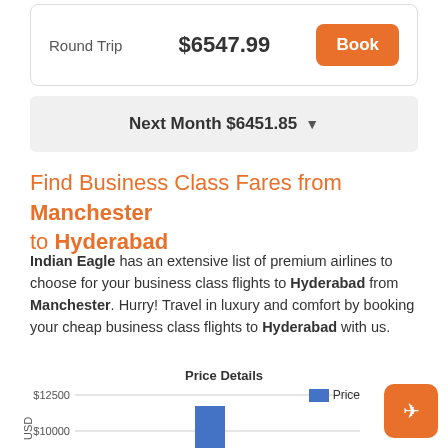Round Trip  $6547.99  Book
Next Month $6451.85
Find Business Class Fares from Manchester to Hyderabad
Indian Eagle has an extensive list of premium airlines to choose for your business class flights to Hyderabad from Manchester. Hurry! Travel in luxury and comfort by booking your cheap business class flights to Hyderabad with us.
[Figure (bar-chart): Price Details]